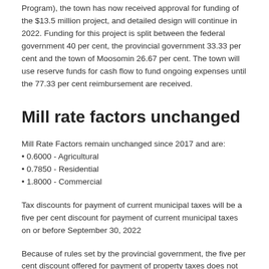Program), the town has now received approval for funding of the $13.5 million project, and detailed design will continue in 2022. Funding for this project is split between the federal government 40 per cent, the provincial government 33.33 per cent and the town of Moosomin 26.67 per cent. The town will use reserve funds for cash flow to fund ongoing expenses until the 77.33 per cent reimbursement are received.
Mill rate factors unchanged
Mill Rate Factors remain unchanged since 2017 and are:
• 0.6000 - Agricultural
• 0.7850 - Residential
• 1.8000 - Commercial
Tax discounts for payment of current municipal taxes will be a five per cent discount for payment of current municipal taxes on or before September 30, 2022
Because of rules set by the provincial government, the five per cent discount offered for payment of property taxes does not apply to the school portion. There will be no discount on special taxes for local improvements, and no further discounts after September 30, 2022.